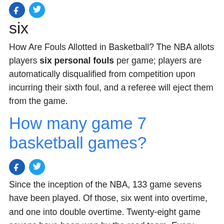[Figure (other): Social media share icons: Facebook (blue circle with f) and Twitter (light blue circle with bird)]
six
How Are Fouls Allotted in Basketball? The NBA allots players six personal fouls per game; players are automatically disqualified from competition upon incurring their sixth foul, and a referee will eject them from the game.
How many game 7 basketball games?
[Figure (other): Social media share icons: Facebook (dark blue circle with f) and Twitter (light blue circle with bird)]
Since the inception of the NBA, 133 game sevens have been played. Of those, six went into overtime, and one into double overtime. Twenty-eight game sevens have been won by the road team. Every active NBA franchise has played in at least one